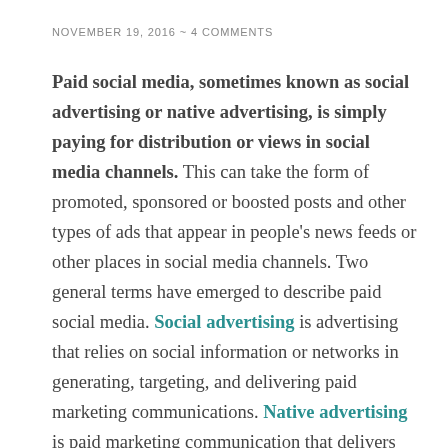NOVEMBER 19, 2016 ~ 4 COMMENTS
Paid social media, sometimes known as social advertising or native advertising, is simply paying for distribution or views in social media channels. This can take the form of promoted, sponsored or boosted posts and other types of ads that appear in people's news feeds or other places in social media channels. Two general terms have emerged to describe paid social media. Social advertising is advertising that relies on social information or networks in generating, targeting, and delivering paid marketing communications. Native advertising is paid marketing communication that delivers useful, interesting and targeted information in a form that looks like the site's native, or non-ad,